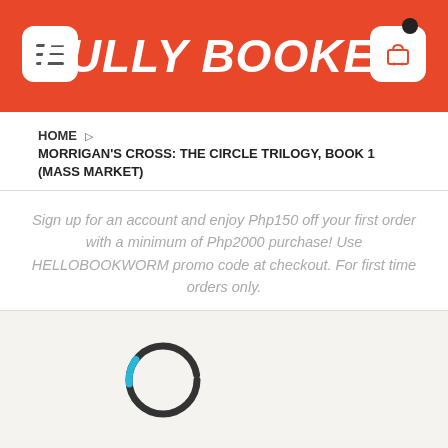FULLY BOOKED
HOME › MORRIGAN'S CROSS: THE CIRCLE TRILOGY, BOOK 1 (MASS MARKET)
Sign up for an account and enjoy Php150 off your first order with a minimum of Php2000 purchase! Use HELLOBOOKWORM promo code at checkout. For first time orders only.
[Figure (other): Loading spinner — circular progress indicator, mostly dark gray with a small cyan/blue arc segment at the top right]